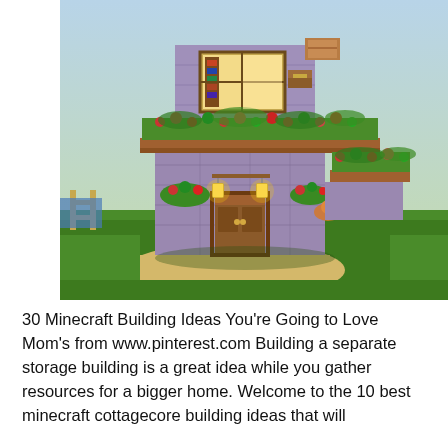[Figure (screenshot): A Minecraft game screenshot showing a two-story cottage-style building made of purple/stone blocks with a wooden door, lanterns, flowers on tiered balconies, surrounded by green grass. The building has a cozy cottagecore aesthetic.]
30 Minecraft Building Ideas You're Going to Love Mom's from www.pinterest.com Building a separate storage building is a great idea while you gather resources for a bigger home. Welcome to the 10 best minecraft cottagecore building ideas that will